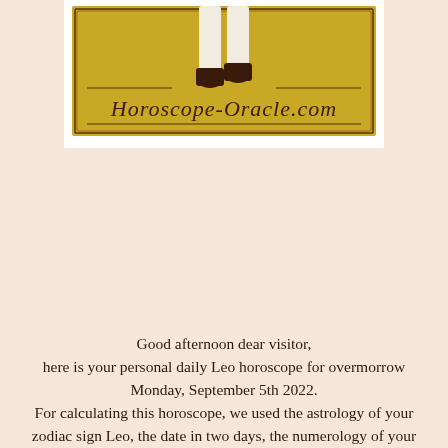[Figure (logo): HoroscopeOracle.com logo on a golden/yellow background with decorative border, showing legs in white stockings and dark boots, with the website name in stylized text]
Good afternoon dear visitor,
here is your personal daily Leo horoscope for overmorrow Monday, September 5th 2022.
For calculating this horoscope, we used the astrology of your zodiac sign Leo, the date in two days, the numerology of your